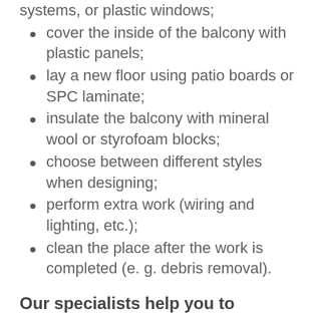systems, or plastic windows;
cover the inside of the balcony with plastic panels;
lay a new floor using patio boards or SPC laminate;
insulate the balcony with mineral wool or styrofoam blocks;
choose between different styles when designing;
perform extra work (wiring and lighting, etc.);
clean the place after the work is completed (e. g. debris removal).
Our specialists help you to complete any project. We advise on all questions, so that you can choose the best solution for your